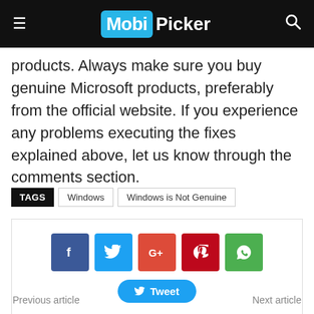MobiPicker
products. Always make sure you buy genuine Microsoft products, preferably from the official website. If you experience any problems executing the fixes explained above, let us know through the comments section.
TAGS  Windows  Windows is Not Genuine
[Figure (infographic): Social share buttons: Facebook, Twitter, Google+, Pinterest, WhatsApp, and a Tweet button]
Previous article    Next article